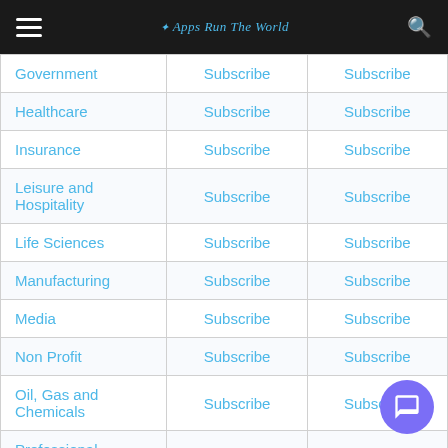Apps Run The World
|  |  |  |
| --- | --- | --- |
| Government | Subscribe | Subscribe |
| Healthcare | Subscribe | Subscribe |
| Insurance | Subscribe | Subscribe |
| Leisure and Hospitality | Subscribe | Subscribe |
| Life Sciences | Subscribe | Subscribe |
| Manufacturing | Subscribe | Subscribe |
| Media | Subscribe | Subscribe |
| Non Profit | Subscribe | Subscribe |
| Oil, Gas and Chemicals | Subscribe | Subscribe |
| Professional Services | Subscribe | Subscribe |
| Retail | Subscribe | Subscribe |
| Transportation | Subscribe | Subscribe |
| Utilities | Subscribe | Subscribe |